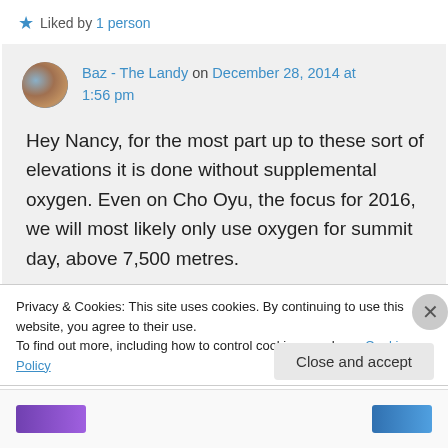★ Liked by 1 person
Baz - The Landy on December 28, 2014 at 1:56 pm
Hey Nancy, for the most part up to these sort of elevations it is done without supplemental oxygen. Even on Cho Oyu, the focus for 2016, we will most likely only use oxygen for summit day, above 7,500 metres.
Privacy & Cookies: This site uses cookies. By continuing to use this website, you agree to their use. To find out more, including how to control cookies, see here: Cookie Policy